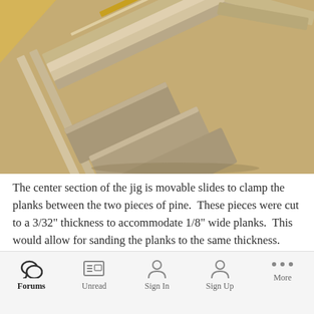[Figure (photo): Photograph of wooden planks and MDF pieces arranged on a workbench, part of a jig assembly with multiple thin wood strips and rectangular blocks stacked diagonally.]
The center section of the jig is movable slides to clamp the planks between the two pieces of pine.  These pieces were cut to a 3/32" thickness to accommodate 1/8" wide planks.  This would allow for sanding the planks to the same thickness.
[Figure (photo): Partial view of another photograph below the text, showing blue/colored tones, partially cropped at the bottom of the visible area.]
Forums  Unread  Sign In  Sign Up  More